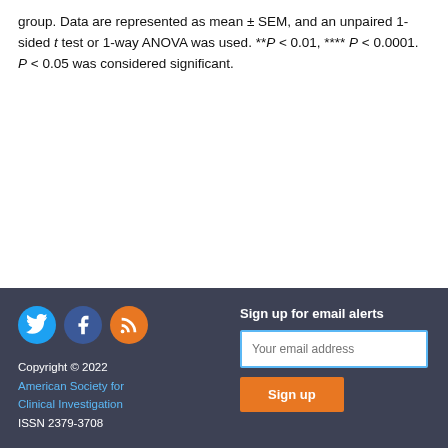group. Data are represented as mean ± SEM, and an unpaired 1-sided t test or 1-way ANOVA was used. **P < 0.01, **** P < 0.0001. P < 0.05 was considered significant.
[Figure (other): Social media icons: Twitter (blue circle), Facebook (dark blue circle), RSS (orange circle)]
Sign up for email alerts
Copyright © 2022 American Society for Clinical Investigation ISSN 2379-3708